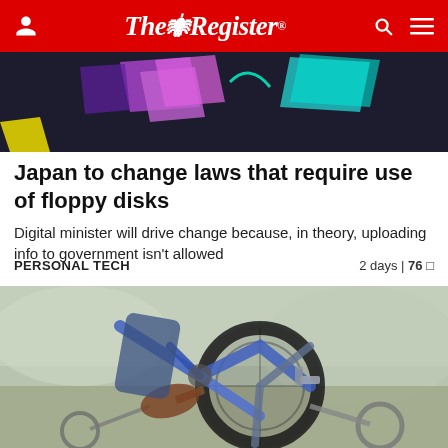The Register
[Figure (illustration): Dark background with colorful geometric shapes - purple, pink, teal/cyan parallelograms on dark surface]
Japan to change laws that require use of floppy disks
Digital minister will drive change because, in theory, uploading info to government isn't allowed
PERSONAL TECH   2 days | 76 comments
[Figure (photo): Close-up photo of a purple children's bicycle with training wheels, showing pedals, tire, and lower frame on a blurred outdoor background]